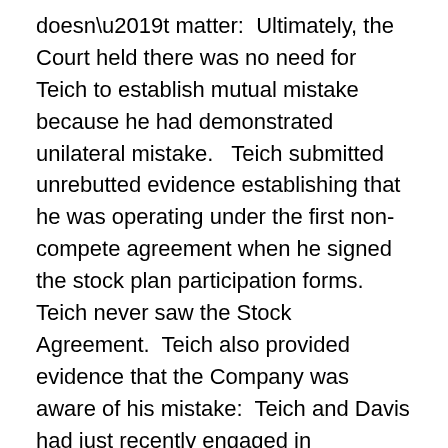doesn't matter:  Ultimately, the Court held there was no need for Teich to establish mutual mistake because he had demonstrated unilateral mistake.   Teich submitted unrebutted evidence establishing that he was operating under the first non-compete agreement when he signed the stock plan participation forms.  Teich never saw the Stock Agreement.  Teich also provided evidence that the Company was aware of his mistake:  Teich and Davis had just recently engaged in negotiations over his Employment Agreement, which Teich refused to sign without the aforementioned escape clause.  In short, the Court concluded, “Davis had reason to know that Teich was unaware that he was agreeing to be bound by the Stock Agreement’s non-compete, which contained no release.”  The upshot of all of this:  The Company took advantage of a Teich’s unilateral mistake.  Teich likely will be able to